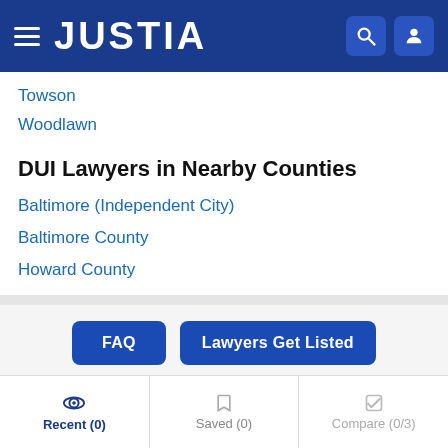JUSTIA
Towson
Woodlawn
DUI Lawyers in Nearby Counties
Baltimore (Independent City)
Baltimore County
Howard County
FAQ | Lawyers Get Listed
Recent (0) | Saved (0) | Compare (0/3)